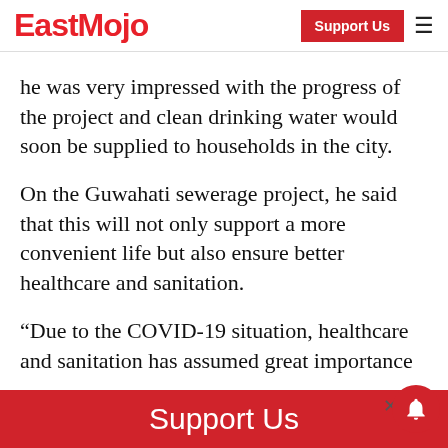EastMojo | Support Us
he was very impressed with the progress of the project and clean drinking water would soon be supplied to households in the city.
On the Guwahati sewerage project, he said that this will not only support a more convenient life but also ensure better healthcare and sanitation.
“Due to the COVID-19 situation, healthcare and sanitation has assumed great importance
Support Us